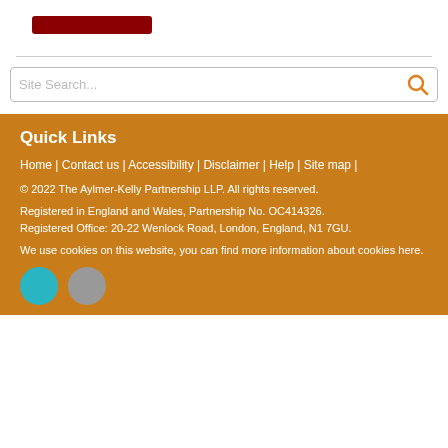[Figure (other): Dark red/maroon rectangular button at top left]
Site Search...
Quick Links
Home | Contact us | Accessibility | Disclaimer | Help | Site map |
© 2022 The Aylmer-Kelly Partnership LLP. All rights reserved.
Registered in England and Wales, Partnership No. OC414326. Registered Office: 20-22 Wenlock Road, London, England, N1 7GU.
We use cookies on this website, you can find more information about cookies here.
[Figure (other): Two circular badge icons at bottom: one teal, one gray]